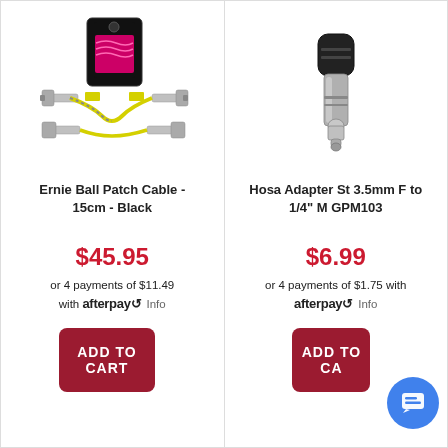[Figure (photo): Ernie Ball Patch Cable 15cm Black product photo showing a set of angled patch cables with black and yellow woven design on a hang card]
Ernie Ball Patch Cable - 15cm - Black
$45.95
or 4 payments of $11.49 with afterpay Info
ADD TO CART
[Figure (photo): Hosa Adapter St 3.5mm F to 1/4 inch M GPM103 product photo showing a metal audio adapter on white background]
Hosa Adapter St 3.5mm F to 1/4" M GPM103
$6.99
or 4 payments of $1.75 with afterpay Info
ADD TO CART